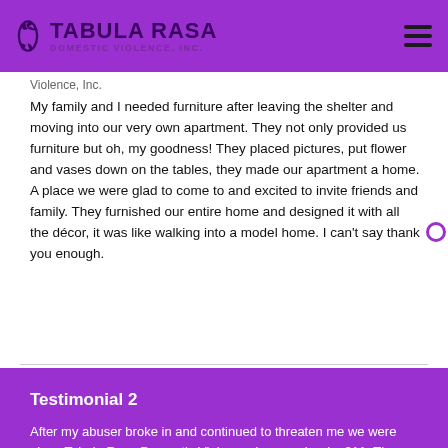TABULA RASA DOMESTIC VIOLENCE INC
Violence, Inc.
My family and I needed furniture after leaving the shelter and moving into our very own apartment. They not only provided us furniture but oh, my goodness! They placed pictures, put flower and vases down on the tables, they made our apartment a home. A place we were glad to come to and excited to invite friends and family. They furnished our entire home and designed it with all the décor, it was like walking into a model home. I can't say thank you enough.
Testimonial 2
After my abuser broke in and continued to threaten me we were given Tabula Rasa Domestic Violence, Inc. number by 211. They stepped in and assisted us in getting in a safe place, provided us resources, moving us into our new place and then